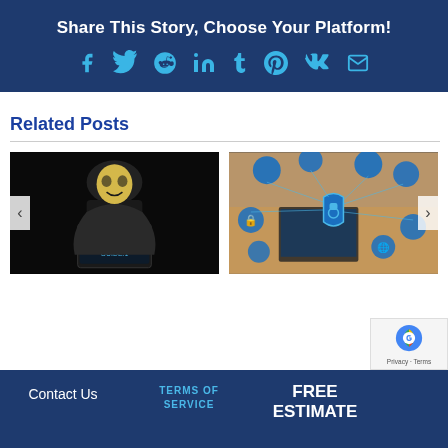Share This Story, Choose Your Platform!
[Figure (infographic): Social media sharing icons: Facebook, Twitter, Reddit, LinkedIn, Tumblr, Pinterest, VK, Email — displayed in blue on a dark navy background]
Related Posts
[Figure (photo): A person wearing a Guy Fawkes mask in a dark hoodie holding a laptop with Planet Guide logo]
[Figure (photo): Cybersecurity concept image with shield icon, padlock, and connected tech devices with blue glowing icons]
Contact Us   TERMS OF SERVICE   FREE ESTIMATE